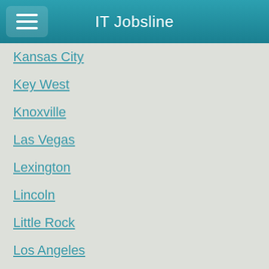IT Jobsline
Kansas City
Key West
Knoxville
Las Vegas
Lexington
Lincoln
Little Rock
Los Angeles
Louisville
Macon
Madison
Memphis